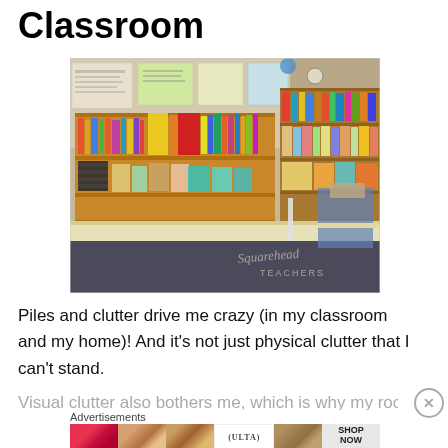Classroom
[Figure (photo): A school classroom with blue-skirted counters/shelves along the wall, filled with books, organizers, bins, and supplies. Bookshelves in background are packed with colorful books and materials. A watermark reads 'Squarehead Teachers'.]
Piles and clutter drive me crazy (in my classroom and my home)! And it’s not just physical clutter that I can’t stand.
Visual clutter...
Advertisements
[Figure (photo): Ulta Beauty advertisement banner showing close-up images of lips with makeup, a makeup brush, eye makeup looks, the Ulta logo, another eye makeup image, and a 'SHOP NOW' button.]